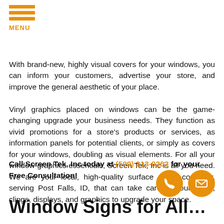MENU
With brand-new, highly visual covers for your windows, you can inform your customers, advertise your store, and improve the general aesthetic of your place.
Vinyl graphics placed on windows can be the game-changing upgrade your business needs. They function as vivid promotions for a store's products or services, as information panels for potential clients, or simply as covers for your windows, doubling as visual elements. For all your window graphics essentials, Screen Tek, Inc is all you need. We are your local, high-quality surface prints company, serving Post Falls, ID, that can take care of your signs, clings, displays, and graphics to upgrade your space.
Call Screen Tek, Inc today at (509) 213-0262 for your Free Consultation!
Window Signs for All…